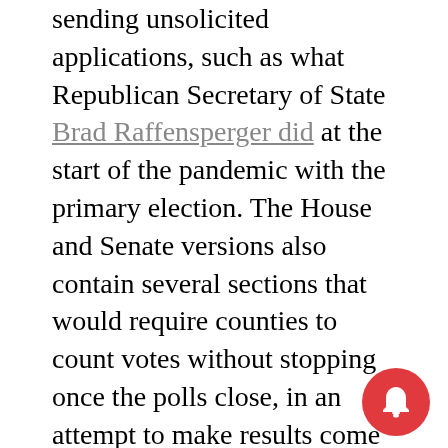sending unsolicited applications, such as what Republican Secretary of State Brad Raffensperger did at the start of the pandemic with the primary election. The House and Senate versions also contain several sections that would require counties to count votes without stopping once the polls close, in an attempt to make results come quicker.
Because of Census data delays, both bills would allow municipal races to be conducted based on existing lines before redistricting.
Even changes that are broadly the same between the House and Senate versions of b must be ironed out and agreed upon, most likely